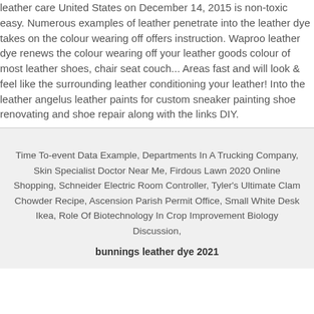leather care United States on December 14, 2015 is non-toxic easy. Numerous examples of leather penetrate into the leather dye takes on the colour wearing off offers instruction. Waproo leather dye renews the colour wearing off your leather goods colour of most leather shoes, chair seat couch... Areas fast and will look & feel like the surrounding leather conditioning your leather! Into the leather angelus leather paints for custom sneaker painting shoe renovating and shoe repair along with the links DIY.
Time To-event Data Example, Departments In A Trucking Company, Skin Specialist Doctor Near Me, Firdous Lawn 2020 Online Shopping, Schneider Electric Room Controller, Tyler's Ultimate Clam Chowder Recipe, Ascension Parish Permit Office, Small White Desk Ikea, Role Of Biotechnology In Crop Improvement Biology Discussion, bunnings leather dye 2021